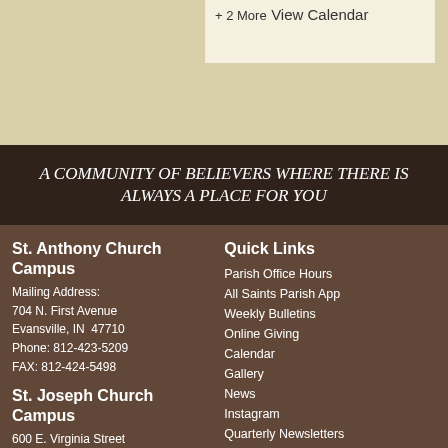+ 2 More
View Calendar
A COMMUNITY OF BELIEVERS WHERE THERE IS ALWAYS A PLACE FOR YOU
St. Anthony Church Campus
Mailing Address:
704 N. First Avenue
Evansville, IN  47710
Phone: 812-423-5209
FAX: 812-424-5498
St. Joseph Church Campus
600 E. Virginia Street
Evansville, IN 47711
Quick Links
Parish Office Hours
All Saints Parish App
Weekly Bulletins
Online Giving
Calendar
Gallery
News
Instagram
Quarterly Newsletters
Forms